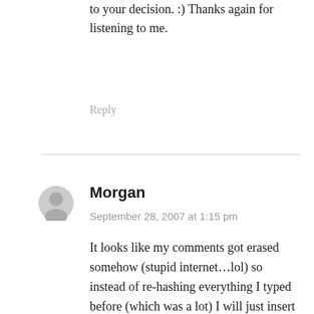to your decision. :) Thanks again for listening to me.
Reply
Morgan
September 28, 2007 at 1:15 pm
It looks like my comments got erased somehow (stupid internet…lol) so instead of re-hashing everything I typed before (which was a lot) I will just insert this quote which I stumbled upon during my many hours of research on the subject. It really got me